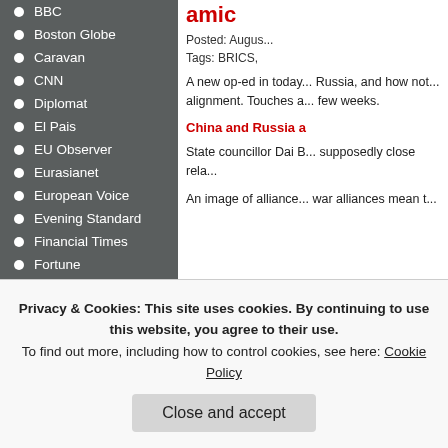BBC
Boston Globe
Caravan
CNN
Diplomat
El Pais
EU Observer
Eurasianet
European Voice
Evening Standard
Financial Times
Fortune
Global Times
GQ
Guardian
amic...
Posted: Augus...
Tags: BRICS,
A new op-ed in today... Russia, and how not... alignment. Touches a... few weeks.
China and Russia a
State councillor Dai B... supposedly close rela...
An image of alliance... war alliances mean t...
Privacy & Cookies: This site uses cookies. By continuing to use this website, you agree to their use.
To find out more, including how to control cookies, see here: Cookie Policy
Close and accept